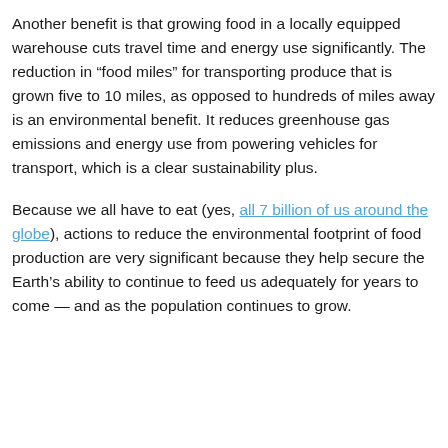Another benefit is that growing food in a locally equipped warehouse cuts travel time and energy use significantly. The reduction in “food miles” for transporting produce that is grown five to 10 miles, as opposed to hundreds of miles away is an environmental benefit. It reduces greenhouse gas emissions and energy use from powering vehicles for transport, which is a clear sustainability plus.
Because we all have to eat (yes, all 7 billion of us around the globe), actions to reduce the environmental footprint of food production are very significant because they help secure the Earth’s ability to continue to feed us adequately for years to come — and as the population continues to grow.